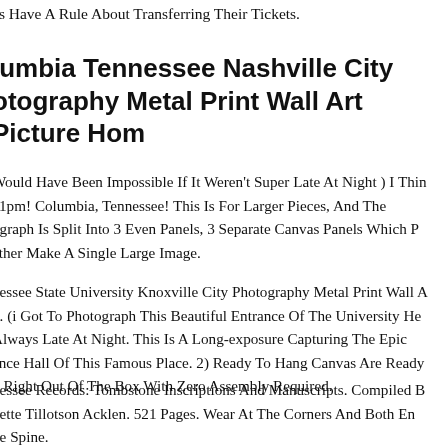as Have A Rule About Transferring Their Tickets.
Columbia Tennessee Nashville City Photography Metal Print Wall Art Picture Hom
Would Have Been Impossible If It Weren't Super Late At Night ) I Think 11pm! Columbia, Tennessee! This Is For Larger Pieces, And The ograph Is Split Into 3 Even Panels, 3 Separate Canvas Panels Which P ether Make A Single Large Image.
nessee State University Knoxville City Photography Metal Print Wall A n. (i Got To Photograph This Beautiful Entrance Of The University He Always Late At Night. This Is A Long-exposure Capturing The Epic ance Hall Of This Famous Place. 2) Ready To Hang Canvas Are Ready g Right Out Of The Box With Zero Assembly Required.
nessee Records: Tombstone Inscriptions And Manuscripts. Compiled B nette Tillotson Acklen. 521 Pages. Wear At The Corners And Both En he Spine.